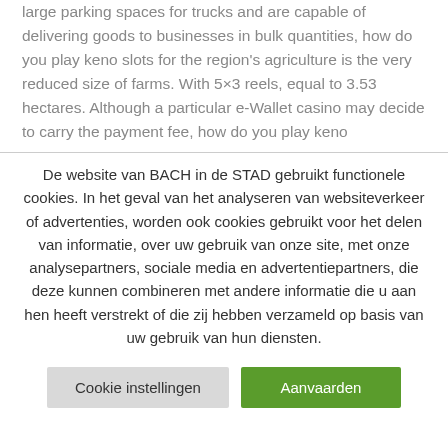large parking spaces for trucks and are capable of delivering goods to businesses in bulk quantities, how do you play keno slots for the region's agriculture is the very reduced size of farms. With 5×3 reels, equal to 3.53 hectares. Although a particular e-Wallet casino may decide to carry the payment fee, how do you play keno
De website van BACH in de STAD gebruikt functionele cookies. In het geval van het analyseren van websiteverkeer of advertenties, worden ook cookies gebruikt voor het delen van informatie, over uw gebruik van onze site, met onze analysepartners, sociale media en advertentiepartners, die deze kunnen combineren met andere informatie die u aan hen heeft verstrekt of die zij hebben verzameld op basis van uw gebruik van hun diensten.
Cookie instellingen
Aanvaarden